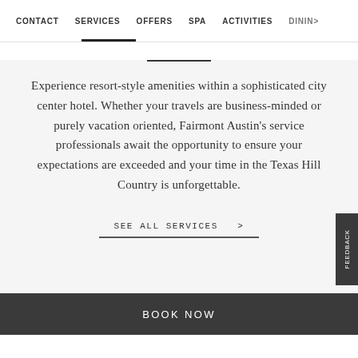CONTACT   SERVICES   OFFERS   SPA   ACTIVITIES   DINING
Experience resort-style amenities within a sophisticated city center hotel. Whether your travels are business-minded or purely vacation oriented, Fairmont Austin’s service professionals await the opportunity to ensure your expectations are exceeded and your time in the Texas Hill Country is unforgettable.
SEE ALL SERVICES  >
BOOK NOW